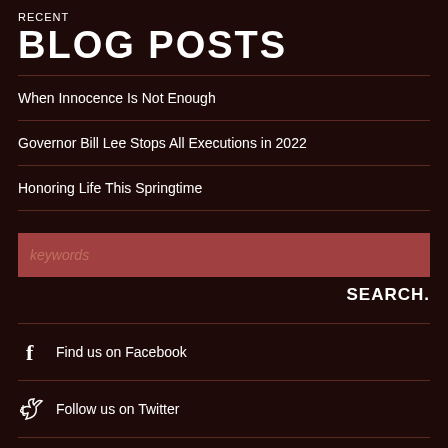RECENT
BLOG POSTS
When Innocence Is Not Enough
Governor Bill Lee Stops All Executions in 2022
Honoring Life This Springtime
keywords (search input placeholder)
SEARCH.
Find us on Facebook
Follow us on Twitter
Subscribe to our RSS feed